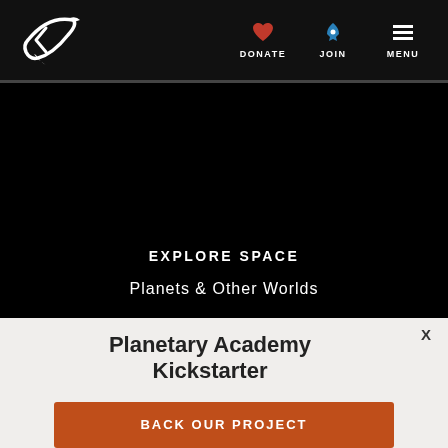Planetary Society navigation bar with logo, DONATE, JOIN, MENU
EXPLORE SPACE
Planets & Other Worlds
Planetary Academy Kickstarter
BACK OUR PROJECT